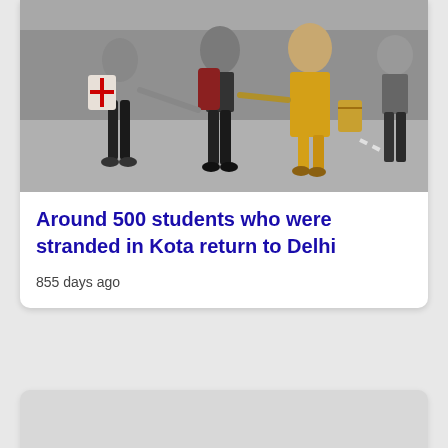[Figure (photo): Students walking on a road carrying luggage and backpacks. One person wearing a yellow outfit and another in black pants with a red cross bag visible.]
Around 500 students who were stranded in Kota return to Delhi
855 days ago
[Figure (other): Gray placeholder/advertisement card below the news article card.]